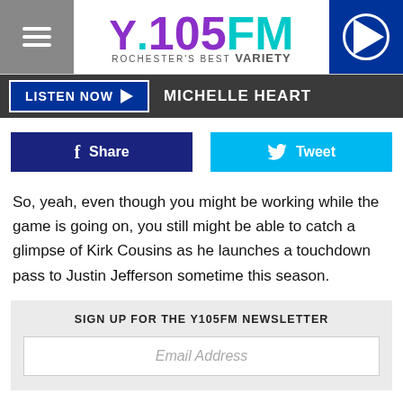[Figure (logo): Y.105FM Rochester's Best Variety radio station logo with purple and teal colors]
LISTEN NOW  MICHELLE HEART
Share  Tweet
So, yeah, even though you might be working while the game is going on, you still might be able to catch a glimpse of Kirk Cousins as he launches a touchdown pass to Justin Jefferson sometime this season.
SIGN UP FOR THE Y105FM NEWSLETTER
Email Address
If you're interested, they're holding a Hiring Fair Wednesday,